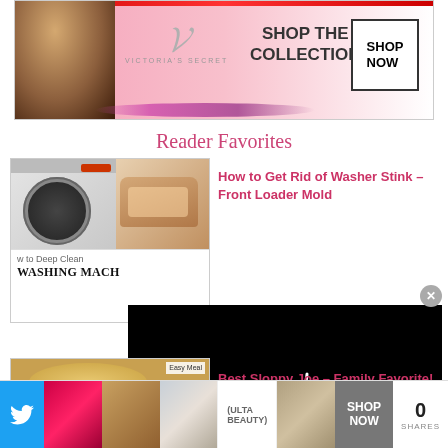[Figure (other): Victoria's Secret advertisement banner with model, logo, 'SHOP THE COLLECTION' text and 'SHOP NOW' button]
Reader Favorites
[Figure (photo): Front-loading washing machine and hand cleaning the detergent drawer; bottom portion shows 'How to Deep Clean Your WASHING MACHINE' text]
How to Get Rid of Washer Stink – Front Loader Mold
[Figure (photo): Black video player overlay with loading spinner and close button]
[Figure (photo): Sloppy Joe sandwich on a bun with meat filling, labeled 'Easy Meals']
Best Sloppy Joe – Family Favorite!
[Figure (other): Bottom advertisement strip showing Ulta beauty ad with makeup images, SHOP NOW button, and 0 SHARES counter]